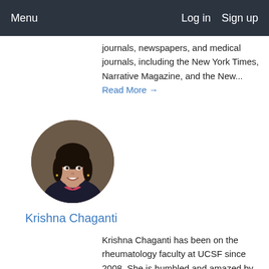Menu   Log in   Sign up
journals, newspapers, and medical journals, including the New York Times, Narrative Magazine, and the New... Read More →
[Figure (photo): Circular portrait photo of Krishna Chaganti, a woman with dark hair, smiling, wearing a dark top with pink accent, against a brown/dark background.]
Krishna Chaganti
Krishna Chaganti has been on the rheumatology faculty at UCSF since 2008. She is humbled and amazed by the patients she gets to take care of